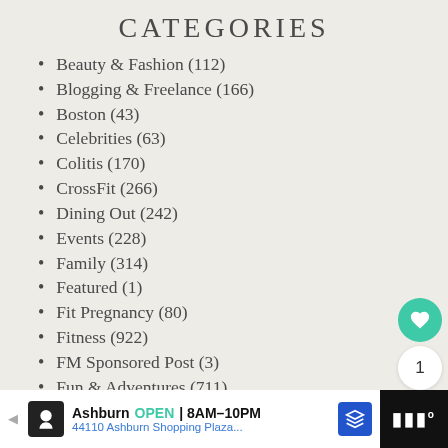CATEGORIES
Beauty & Fashion (112)
Blogging & Freelance (166)
Boston (43)
Celebrities (63)
Colitis (170)
CrossFit (266)
Dining Out (242)
Events (228)
Family (314)
Featured (1)
Fit Pregnancy (80)
Fitness (922)
FM Sponsored Post (3)
Fun & Adventures (711)
Home (127)
[Figure (screenshot): UI panel with heart/like button (teal), count of 1, and share button]
[Figure (screenshot): What's Next panel showing Cycle for Friendship...]
[Figure (screenshot): Advertisement bar: Ashburn OPEN 8AM-10PM, 44110 Ashburn Shopping Plaza...]